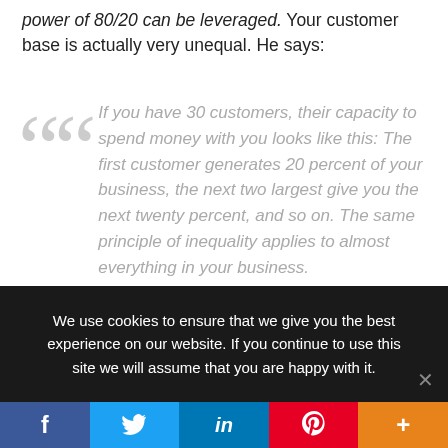power of 80/20 can be leveraged. Your customer base is actually very unequal. He says:
If you have 30 customers, their capacity to spend money with you looks like this: The first customer generates 20 percent of your business, the next two largest give you the next twenty percent, and so on. The same principle of inequality applies to almost everything in your business.
We use cookies to ensure that we give you the best experience on our website. If you continue to use this site we will assume that you are happy with it.
f  [Twitter bird]  in  [Pinterest P]  +